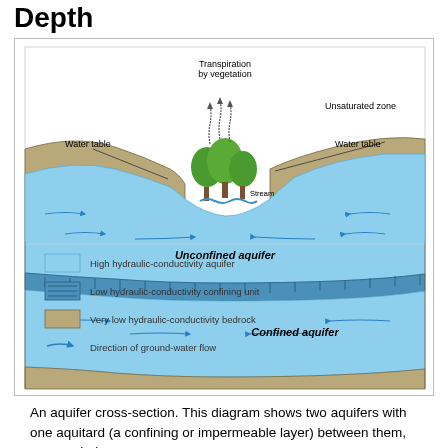Depth
[Figure (engineering-diagram): An aquifer cross-section diagram showing unconfined aquifer above and confined aquifer below, separated by a confining unit. Features labels for: Transpiration by vegetation, Unsaturated zone, Water table (two instances), Stream, Unconfined aquifer, Confined aquifer, and arrows showing direction of ground-water flow. Legend shows: High hydraulic-conductivity aquifer (light blue), Low hydraulic-conductivity confining unit (dark blue hatched), Very low hydraulic-conductivity bedrock (tan/brown), Direction of ground-water flow (curved arrow).]
An aquifer cross-section. This diagram shows two aquifers with one aquitard (a confining or impermeable layer) between them, surrounded